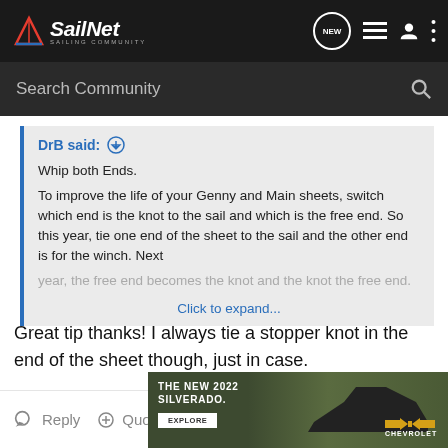SailNet SAILING COMMUNITY
Search Community
DrB said: ↑

Whip both Ends.

To improve the life of your Genny and Main sheets, switch which end is the knot to the sail and which is the free end. So this year, tie one end of the sheet to the sail and the other end is for the winch. Next year, the free end becomes the knot and the knot the free end.

Click to expand...
Great tip thanks! I always tie a stopper knot in the end of the sheet though, just in case.
Reply  Quote
[Figure (other): Advertisement for The New 2022 Silverado by Chevrolet with Explore button]